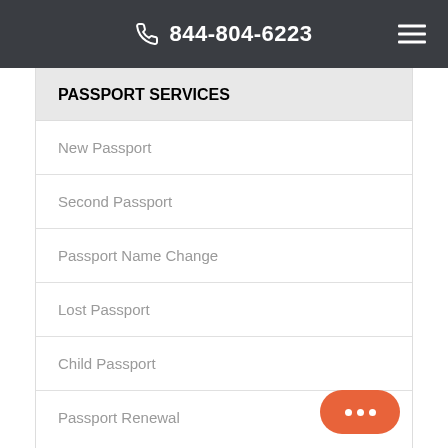844-804-6223
PASSPORT SERVICES
New Passport
Second Passport
Passport Name Change
Lost Passport
Child Passport
Passport Renewal